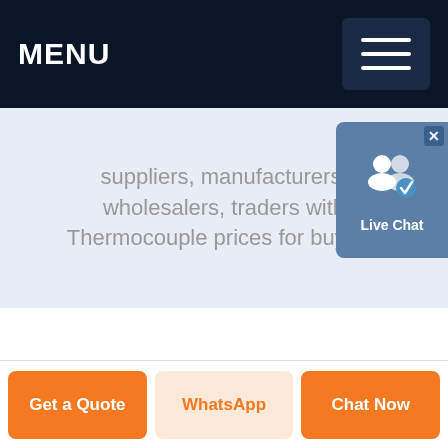MENU
suppliers, manufacturers, wholesalers, traders with Thermocouple prices for buying.
[Figure (screenshot): Live Chat popup widget with two user icons and a checkmark, labeled 'Live Chat' on a blue-grey background with an X close button]
Get a Quote
WhatsApp
Chat Now